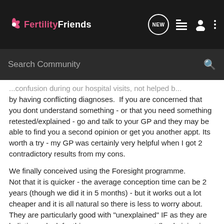FertilityFriends
Search Community
...confusion during our hospital visits, not helped by having conflicting diagnoses.  If you are concerned that you dont understand something - or that you need something retested/explained - go and talk to your GP and they may be able to find you a second opinion or get you another appt. Its worth a try - my GP was certainly very helpful when I got 2 contradictory results from my cons.

We finally conceived using the Foresight programme. Not that it is quicker - the average conception time can be 2 years (though we did it in 5 months) - but it works out a lot cheaper and it is all natural so there is less to worry about. They are particularly good with "unexplained" IF as they are holistic, so look for things your cons may not (lead piping in your house, overuse of laptop computers etc etc)